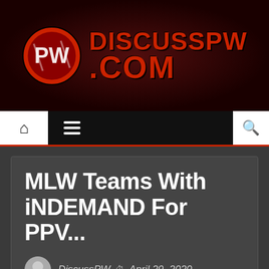[Figure (logo): DiscussPW.com website header banner with red circular logo featuring stylized 'PW' letters and red bold text 'DISCUSSPW .COM' on dark red/black background]
Navigation bar with home icon, hamburger menu, and search icon
MLW Teams With iNDEMAND For PPV...
DiscussPW  April 29, 2020